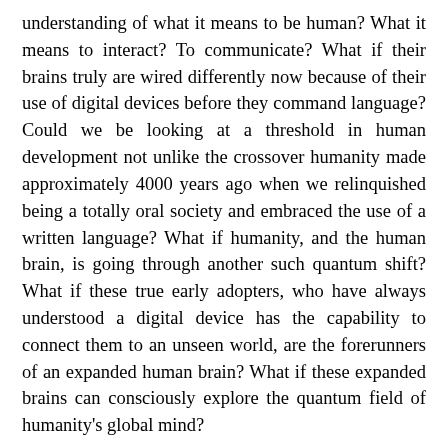understanding of what it means to be human? What it means to interact? To communicate? What if their brains truly are wired differently now because of their use of digital devices before they command language? Could we be looking at a threshold in human development not unlike the crossover humanity made approximately 4000 years ago when we relinquished being a totally oral society and embraced the use of a written language? What if humanity, and the human brain, is going through another such quantum shift? What if these true early adopters, who have always understood a digital device has the capability to connect them to an unseen world, are the forerunners of an expanded human brain? What if these expanded brains can consciously explore the quantum field of humanity's global mind?
The assumption is being made that face-to-face human interaction always trumps the digital world. I propose that we are stumbling our way to a greater comprehension of the unseen quantum field. Just like in